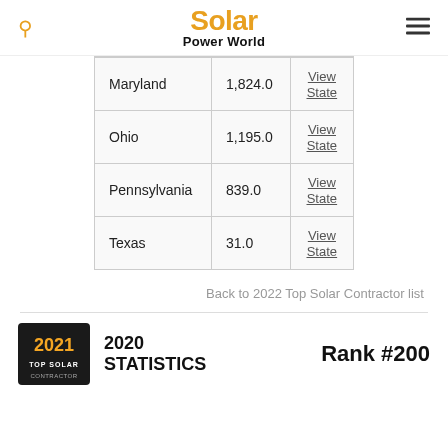Solar Power World
| Maryland | 1,824.0 | View State |
| Ohio | 1,195.0 | View State |
| Pennsylvania | 839.0 | View State |
| Texas | 31.0 | View State |
Back to 2022 Top Solar Contractor list
[Figure (logo): 2021 Top Solar badge logo]
2020 STATISTICS
Rank #200